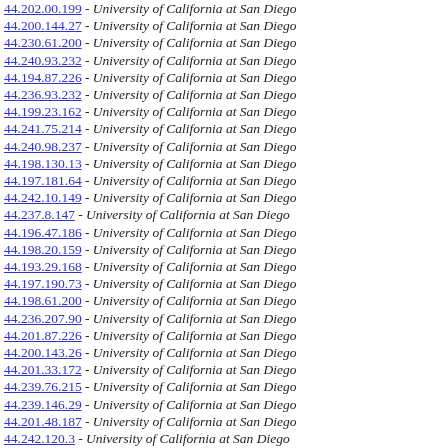44.202.00.199 - University of California at San Diego
44.200.144.27 - University of California at San Diego
44.230.61.200 - University of California at San Diego
44.240.93.232 - University of California at San Diego
44.194.87.226 - University of California at San Diego
44.236.93.232 - University of California at San Diego
44.199.23.162 - University of California at San Diego
44.241.75.214 - University of California at San Diego
44.240.98.237 - University of California at San Diego
44.198.130.13 - University of California at San Diego
44.197.181.64 - University of California at San Diego
44.242.10.149 - University of California at San Diego
44.237.8.147 - University of California at San Diego
44.196.47.186 - University of California at San Diego
44.198.20.159 - University of California at San Diego
44.193.29.168 - University of California at San Diego
44.197.190.73 - University of California at San Diego
44.198.61.200 - University of California at San Diego
44.236.207.90 - University of California at San Diego
44.201.87.226 - University of California at San Diego
44.200.143.26 - University of California at San Diego
44.201.33.172 - University of California at San Diego
44.239.76.215 - University of California at San Diego
44.239.146.29 - University of California at San Diego
44.201.48.187 - University of California at San Diego
44.242.120.3 - University of California at San Diego
44.198.244.127 - University of California at San Diego
44.201.194.77 - University of California at San Diego
44.197.112.251 - University of California at San Diego
44.201.208.91 - University of California at San Diego
44.192.122.5 - University of California at San Diego